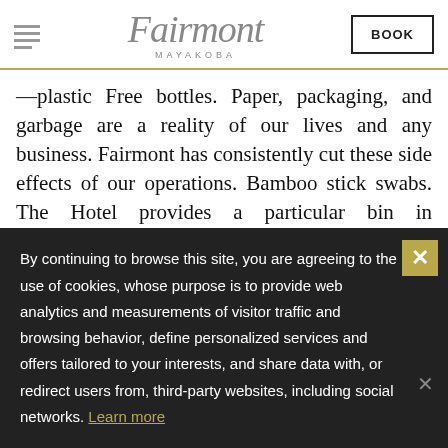Fairmont Mayakoba — BOOK
—plastic Free bottles. Paper, packaging, and garbage are a reality of our lives and any business. Fairmont has consistently cut these side effects of our operations. Bamboo stick swabs. The Hotel provides a particular bin in guestrooms to be used exclusively for the disposal of recyclable materials. Guests are encouraged to place all of the aluminum, plastic, paper, and cardboard materials in this bin. The cleaning products used in the Hotel are
By continuing to browse this site, you are agreeing to the use of cookies, whose purpose is to provide web analytics and measurements of visitor traffic and browsing behavior, define personalized services and offers tailored to your interests, and share data with, or redirect users from, third-party websites, including social networks. Learn more